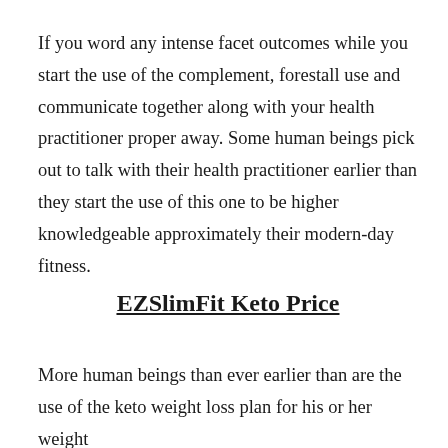If you word any intense facet outcomes while you start the use of the complement, forestall use and communicate together along with your health practitioner proper away. Some human beings pick out to talk with their health practitioner earlier than they start the use of this one to be higher knowledgeable approximately their modern-day fitness.
EZSlimFit Keto Price
More human beings than ever earlier than are the use of the keto weight loss plan for his or her weight